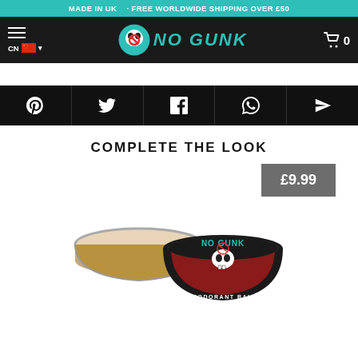MADE IN UK · FREE WORLDWIDE SHIPPING OVER £50
[Figure (logo): No Gunk logo with teal text and skull mascot on dark nav bar, with hamburger menu, CN flag locale selector, and cart icon showing 0]
[Figure (infographic): Social sharing buttons row: Pinterest, Twitter, Facebook, WhatsApp, Email/Send icons on black background]
COMPLETE THE LOOK
[Figure (photo): No Gunk Deodorant Balm product in tin container, showing open tin with balm inside and branded lid with skull logo, price badge showing £9.99]